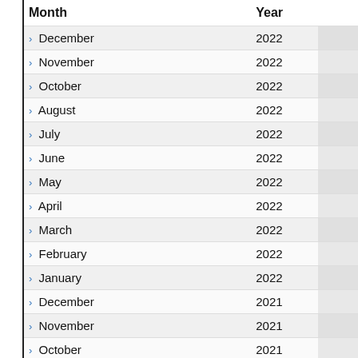| Month | Year |  |
| --- | --- | --- |
| › December | 2022 |  |
| › November | 2022 |  |
| › October | 2022 |  |
| › August | 2022 |  |
| › July | 2022 |  |
| › June | 2022 |  |
| › May | 2022 |  |
| › April | 2022 |  |
| › March | 2022 |  |
| › February | 2022 |  |
| › January | 2022 |  |
| › December | 2021 |  |
| › November | 2021 |  |
| › October | 2021 |  |
| › September | 2021 |  |
| › August | 2021 |  |
| › July | 2021 |  |
| › June | 2021 |  |